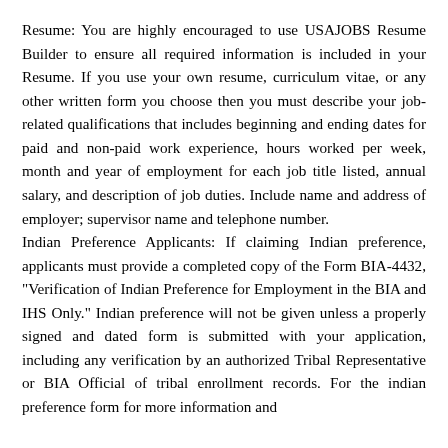Resume: You are highly encouraged to use USAJOBS Resume Builder to ensure all required information is included in your Resume. If you use your own resume, curriculum vitae, or any other written form you choose then you must describe your job-related qualifications that includes beginning and ending dates for paid and non-paid work experience, hours worked per week, month and year of employment for each job title listed, annual salary, and description of job duties. Include name and address of employer; supervisor name and telephone number. Indian Preference Applicants: If claiming Indian preference, applicants must provide a completed copy of the Form BIA-4432, "Verification of Indian Preference for Employment in the BIA and IHS Only." Indian preference will not be given unless a properly signed and dated form is submitted with your application, including any verification by an authorized Tribal Representative or BIA Official of tribal enrollment records. For the indian preference form for more information and